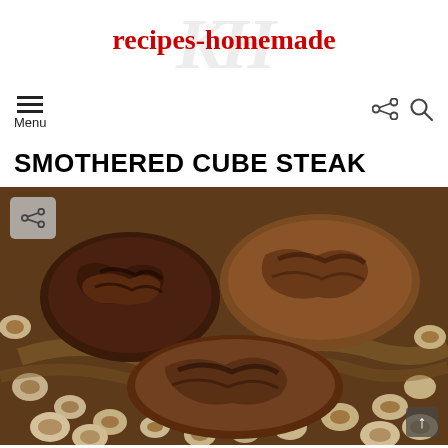recipes-homemade
Menu
SMOTHERED CUBE STEAK
[Figure (photo): Three browned cube steaks smothered in mushrooms and onions in a skillet with gravy]